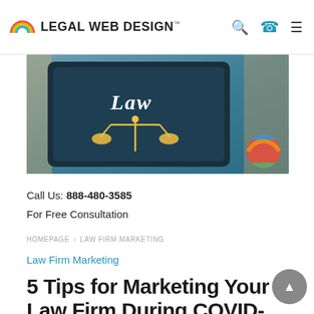LEGAL WEB DESIGN™
[Figure (photo): Hero image of a tablet showing the word 'Law' with scales of justice graphic on a teal/dark background, on a wooden desk with colorful rubber bands ball on the right]
Call Us: 888-480-3585
For Free Consultation
HOMEPAGE › LAW FIRM MARKETING
Law Firm Marketing
5 Tips for Marketing Your Law Firm During COVID-